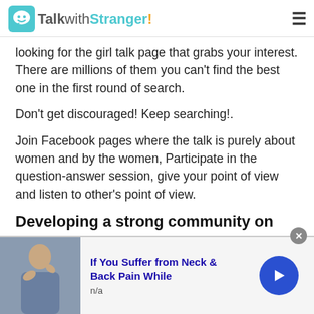TalkwithStranger!
looking for the girl talk page that grabs your interest. There are millions of them you can't find the best one in the first round of search.
Don't get discouraged! Keep searching!.
Join Facebook pages where the talk is purely about women and by the women, Participate in the question-answer session, give your point of view and listen to other's point of view.
Developing a strong community on Twitter
[Figure (screenshot): Advertisement banner: person holding neck in pain, title 'If You Suffer from Neck & Back Pain While', subtitle 'n/a', with a blue circular arrow button on the right and a close (x) button.]